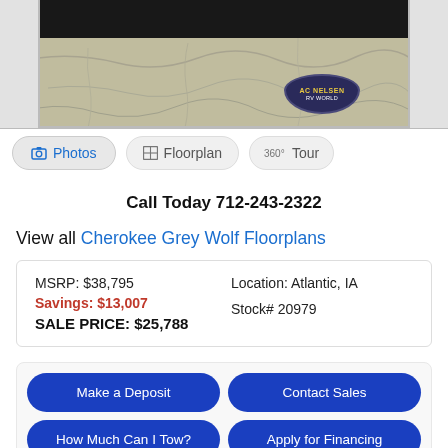[Figure (photo): Partial photo of an RV on cracked pavement with AC Nelsen RV World logo badge visible, photo cropped at top]
📷 Photos   🗎 Floorplan   360° Tour
Call Today 712-243-2322
View all Cherokee Grey Wolf Floorplans
| MSRP: $38,795 | Location: Atlantic, IA |
| Savings: $13,007 |  |
| SALE PRICE: $25,788 | Stock# 20979 |
Make a Deposit | Contact Sales | How Much Can I Tow? | Apply for Financing